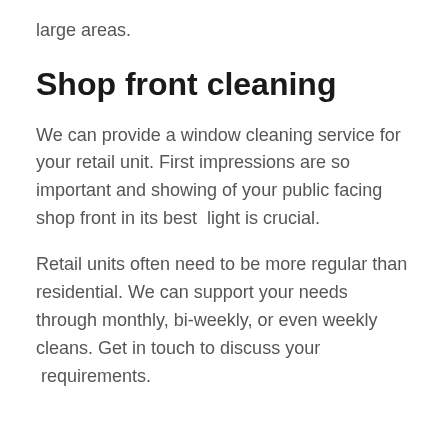large areas.
Shop front cleaning
We can provide a window cleaning service for your retail unit. First impressions are so important and showing of your public facing shop front in its best  light is crucial.
Retail units often need to be more regular than residential. We can support your needs through monthly, bi-weekly, or even weekly cleans. Get in touch to discuss your  requirements.